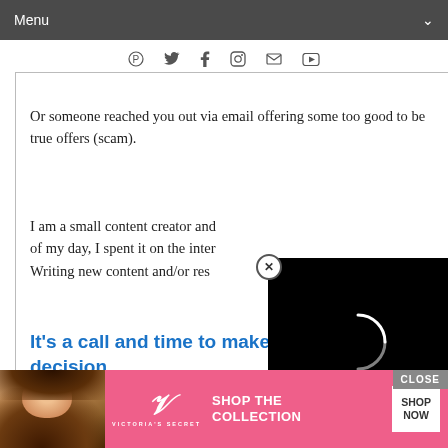Menu
[Figure (other): Social media icons row: Pinterest, Twitter, Facebook, Instagram, Email, YouTube]
Or someone reached you out via email offering some too good to be true offers (scam).
I am a small content creator and [obscured by video overlay] of my day, I spent it on the inter[net] Writing new content and/or res[earching]
It's a call and time to make the right decision...
It came to my idea that I have to write somethi[ng about] anti-virus fo[r...] offer and thi[s...]
[Figure (other): Video player overlay with black background and loading spinner (circular arc in white)]
[Figure (other): Victoria's Secret advertisement banner with model photo, VS logo, SHOP THE COLLECTION text, and SHOP NOW button]